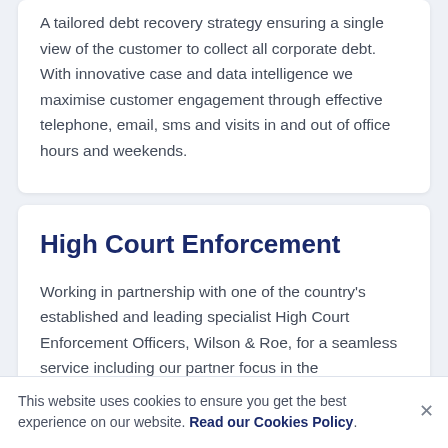A tailored debt recovery strategy ensuring a single view of the customer to collect all corporate debt. With innovative case and data intelligence we maximise customer engagement through effective telephone, email, sms and visits in and out of office hours and weekends.
High Court Enforcement
Working in partnership with one of the country's established and leading specialist High Court Enforcement Officers, Wilson & Roe, for a seamless service including our partner focus in the...
This website uses cookies to ensure you get the best experience on our website. Read our Cookies Policy.